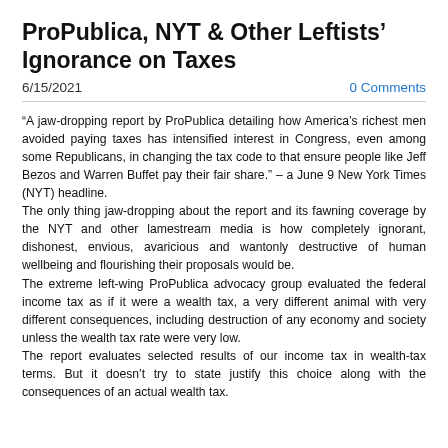ProPublica, NYT & Other Leftists' Ignorance on Taxes
6/15/2021
0 Comments
“A jaw-dropping report by ProPublica detailing how America’s richest men avoided paying taxes has intensified interest in Congress, even among some Republicans, in changing the tax code to that ensure people like Jeff Bezos and Warren Buffet pay their fair share.” – a June 9 New York Times (NYT) headline.
The only thing jaw-dropping about the report and its fawning coverage by the NYT and other lamestream media is how completely ignorant, dishonest, envious, avaricious and wantonly destructive of human wellbeing and flourishing their proposals would be.
The extreme left-wing ProPublica advocacy group evaluated the federal income tax as if it were a wealth tax, a very different animal with very different consequences, including destruction of any economy and society unless the wealth tax rate were very low.
The report evaluates selected results of our income tax in wealth-tax terms. But it doesn’t try to state justify this choice along with the consequences of an actual wealth tax.